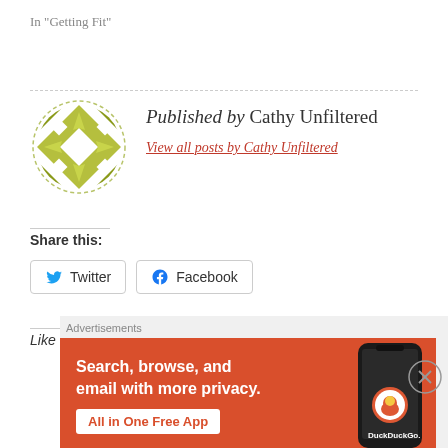In "Getting Fit"
[Figure (illustration): Circular avatar logo with olive/yellow-green geometric quilt-like pattern on dashed circle border]
Published by Cathy Unfiltered
View all posts by Cathy Unfiltered
Share this:
Twitter
Facebook
Like this:
Advertisements
[Figure (screenshot): DuckDuckGo advertisement banner on orange background: 'Search, browse, and email with more privacy. All in One Free App' with phone image and DuckDuckGo logo]